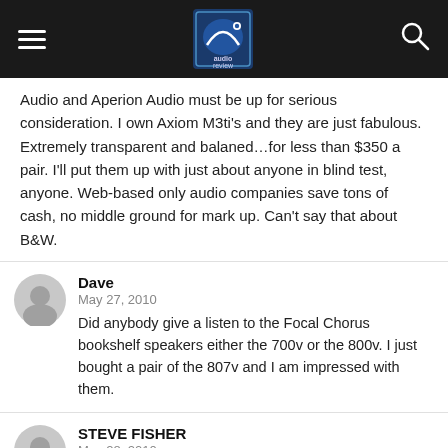audio review [header bar with logo, hamburger menu, search icon]
Audio and Aperion Audio must be up for serious consideration. I own Axiom M3ti's and they are just fabulous. Extremely transparent and balaned…for less than $350 a pair. I'll put them up with just about anyone in blind test, anyone. Web-based only audio companies save tons of cash, no middle ground for mark up. Can't say that about B&W.
Dave
May 27, 2010
Did anybody give a listen to the Focal Chorus bookshelf speakers either the 700v or the 800v. I just bought a pair of the 807v and I am impressed with them.
STEVE FISHER
May 28, 2010
BSB ALPHA B1 S...